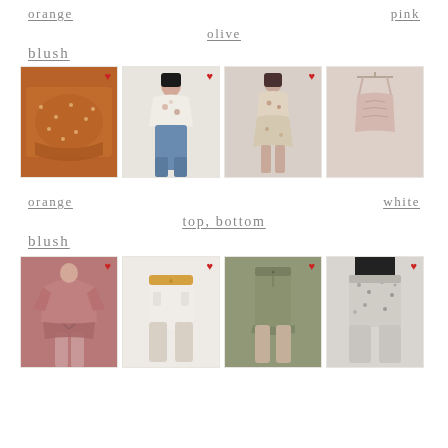orange
pink
olive
blush
[Figure (photo): Four product images: orange/rust polka dot skirt, floral tie-front top with jeans, floral two-piece set, blush pink cami top]
orange
white
top, bottom
blush
[Figure (photo): Four product images: blush pink sweatshirt and shorts set, white shorts, olive green shorts, patterned black shorts]